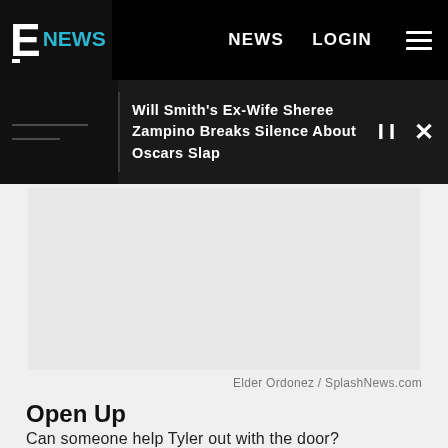E NEWS  NEWS  LOGIN
Will Smith's Ex-Wife Sheree Zampino Breaks Silence About Oscars Slap
[Figure (photo): Gray placeholder image area for article photo]
Elder Ordonez / SplashNews.com
Open Up
Can someone help Tyler out with the door?